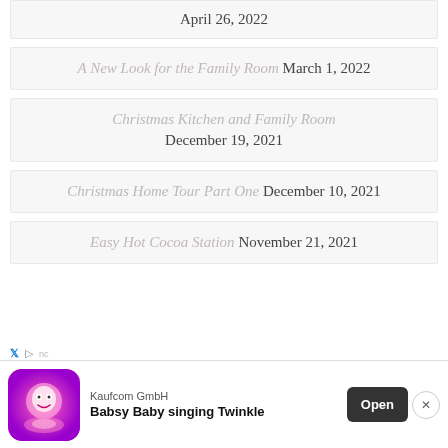April 26, 2022
A New Look for the Family Room  March 1, 2022
Christmas Kitchen and Family Room  December 19, 2021
Christmas Home Tour Part One  December 10, 2021
Easy Hot Cocoa Station  November 21, 2021
[Figure (screenshot): Mobile advertisement banner for Kaufcom GmbH app 'Babsy Baby singing Twinkle' with Open button and close (X) button]